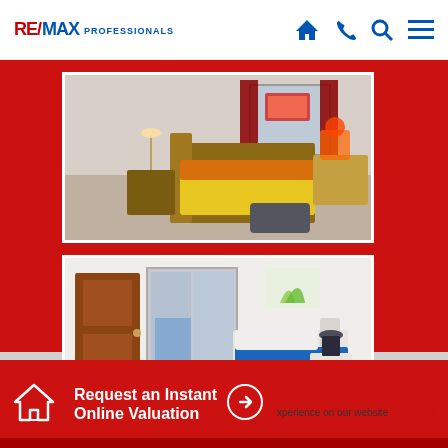RE/MAX PROFESSIONALS
[Figure (photo): Bedroom interior with wooden bed frame, yellow and red bedding, dark curtains, and a desk in the corner]
[Figure (photo): Bedroom interior with blue bedding, mirrored wardrobe, wooden door, and white bedside table]
Request an Instant Online Valuation
experience on our website More info